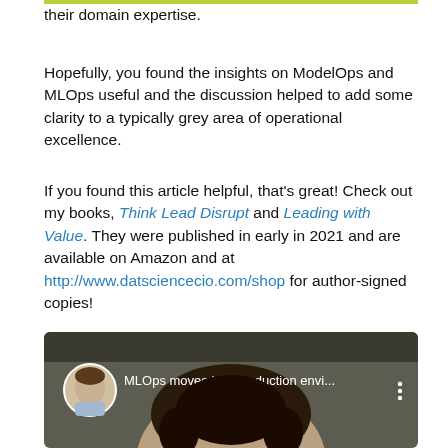their domain expertise.
Hopefully, you found the insights on ModelOps and MLOps useful and the discussion helped to add some clarity to a typically grey area of operational excellence.
If you found this article helpful, that's great! Check out my books, Think Lead Disrupt and Leading with Value. They were published in early in 2021 and are available on Amazon and at http://www.datsciencecio.com/shop for author-signed copies!
Hi, I'm Peter Nichol, Data Science CIO. Have a great day!
[Figure (screenshot): Video thumbnail showing a man's face with text overlay 'MLOps moves into production envi...' and a circular avatar of a man in a suit on the left, with three vertical dots on the right.]